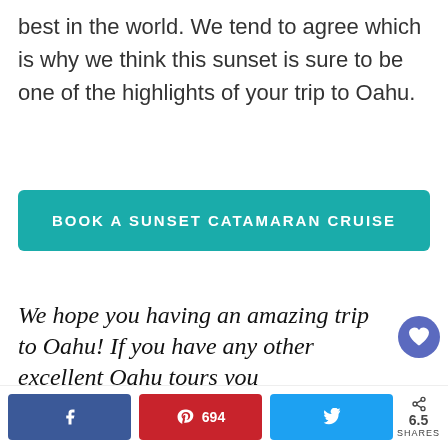best in the world. We tend to agree which is why we think this sunset is sure to be one of the highlights of your trip to Oahu.
BOOK A SUNSET CATAMARAN CRUISE
We hope you having an amazing trip to Oahu! If you have any other excellent Oahu tours you think we should recommend
6.5 SHARES